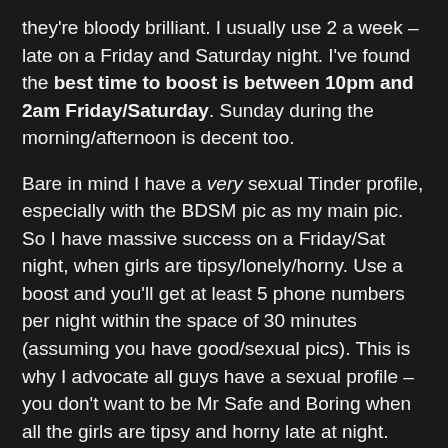they're bloody brilliant. I usually use 2 a week – late on a Friday and Saturday night. I've found the best time to boost is between 10pm and 2am Friday/Saturday. Sunday during the morning/afternoon is decent too.
Bare in mind I have a very sexual Tinder profile, especially with the BDSM pic as my main pic. So I have massive success on a Friday/Sat night, when girls are tipsy/lonely/horny. Use a boost and you'll get at least 5 phone numbers per night within the space of 30 minutes (assuming you have good/sexual pics). This is why I advocate all guys have a sexual profile – you don't want to be Mr Safe and Boring when all the girls are tipsy and horny late at night.
Superlikes: I don't buy any extra ones; the 5 free each day are more than enough. Each day at least 1 of the 5 superlikes will result in a match, and those girls tend to